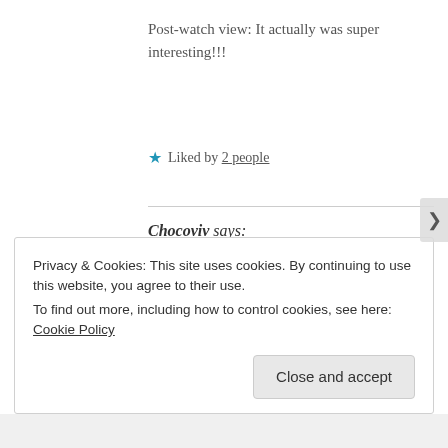Post-watch view: It actually was super interesting!!!
★ Liked by 2 people
Chocoviv says: July 30, 2019 at 9:53 pm
Glad to hear that!
Privacy & Cookies: This site uses cookies. By continuing to use this website, you agree to their use. To find out more, including how to control cookies, see here: Cookie Policy
Close and accept